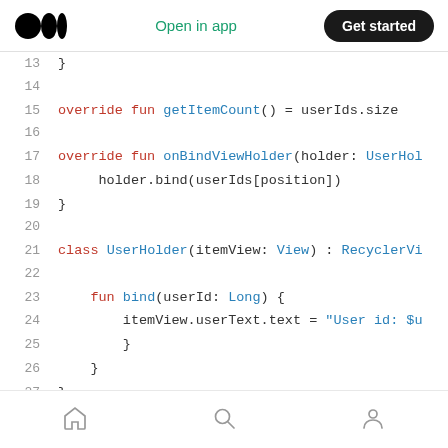Medium logo | Open in app | Get started
13     }
14
15     override fun getItemCount() = userIds.size
16
17     override fun onBindViewHolder(holder: UserHol
18          holder.bind(userIds[position])
19     }
20
21     class UserHolder(itemView: View) : RecyclerVi
22
23          fun bind(userId: Long) {
24               itemView.userText.text = "User id: $u
25          }
26     }
27 }
Home | Search | Profile